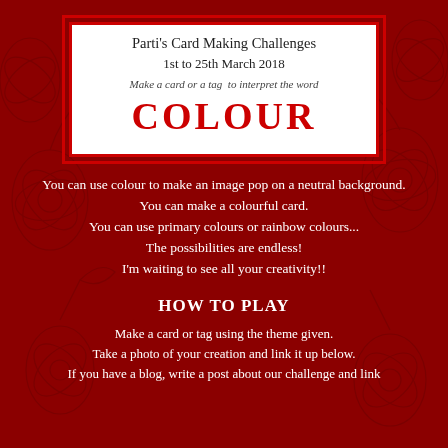Parti's Card Making Challenges
1st to 25th March 2018
Make a card or a tag  to interpret the word
COLOUR
You can use colour to make an image pop on a neutral background.
You can make a colourful card.
You can use primary colours or rainbow colours...
The possibilities are endless!
I'm waiting to see all your creativity!!
HOW TO PLAY
Make a card or tag using the theme given.
Take a photo of your creation and link it up below.
If you have a blog, write a post about our challenge and link